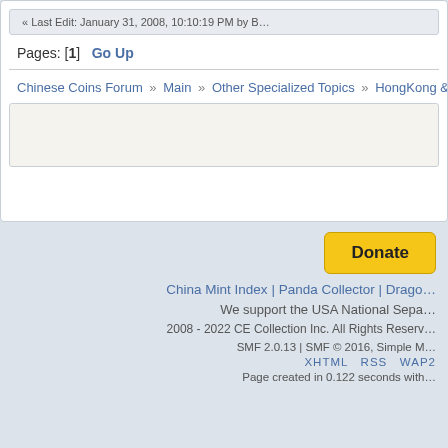« Last Edit: January 31, 2008, 10:10:19 PM by B…
Pages: [1]   Go Up
Chinese Coins Forum » Main » Other Specialized Topics » HongKong & Macau Coins »
[Figure (other): Empty content box (advertisement or placeholder area)]
[Figure (other): Donate button (PayPal-style yellow button)]
China Mint Index | Panda Collector | Drago…
We support the USA National Sepa…
2008 - 2022 CE Collection Inc. All Rights Reserv…
SMF 2.0.13 | SMF © 2016, Simple M…
XHTML   RSS   WAP2
Page created in 0.122 seconds with…